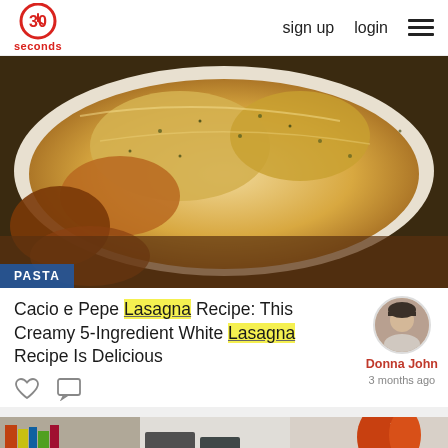30 seconds | sign up | login
[Figure (photo): Close-up of a baked lasagna dish in a white pan with golden cheesy top and herbs]
PASTA
Cacio e Pepe Lasagna Recipe: This Creamy 5-Ingredient White Lasagna Recipe Is Delicious
Donna John
3 months ago
[Figure (photo): Bottom partial image showing a red-haired woman in a kitchen setting]